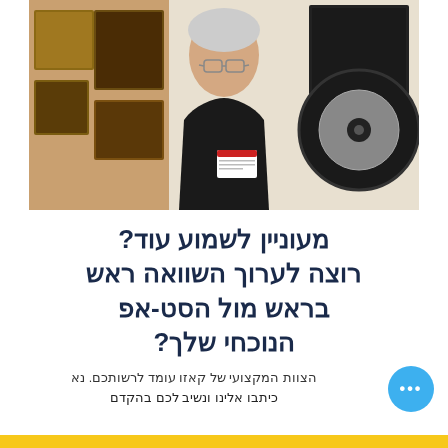[Figure (photo): An older man with white hair and glasses wearing a black shirt with a name badge, standing in front of framed music awards and artwork on a wall]
מעוניין לשמוע עוד? רוצה לערוך השוואה ראש בראש מול הסט-אפ הנוכחי שלך?
הצוות המקצועי של קאזו עומד לרשותכם. נא
כיתבו אלינו ונשיב לכם בהקדם